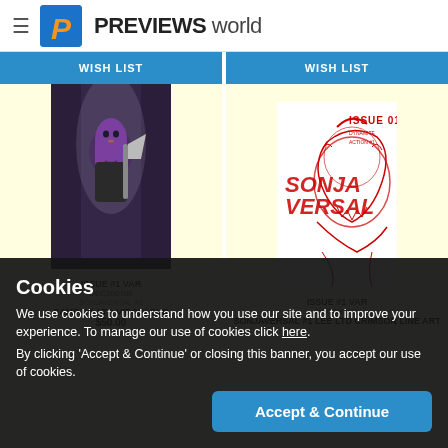PREVIEWS world
WISH LIST
WISH LIST
[Figure (illustration): Comic book cover - warrior woman with purple hair holding an axe on a dark fantasy background]
[Figure (illustration): Comic book cover - red line art dinosaur/monster with 'SONJAVERSAL ISSUE 01' text]
ISSUE #1 VAR
DEC200706
SONJAVERSAL #1
SAMPAIO LTD VIRGIN CVR
$50.00
ISSUE #1 VAR
DEC200702
SONJAVERSAL #1 LEE LTD CRIMSON LINE ART
Cookies
We use cookies to understand how you use our site and to improve your experience. To manage our use of cookies click here.
By clicking 'Accept & Continue' or closing this banner, you accept our use of cookies.
Accept & Continue